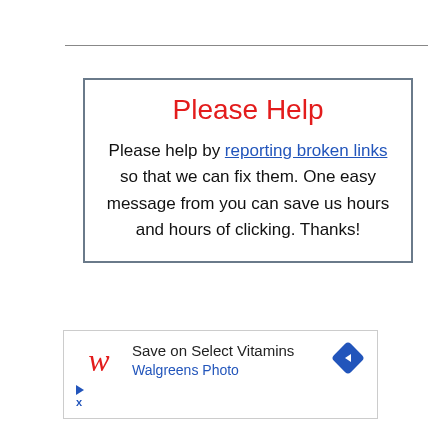Please Help
Please help by reporting broken links so that we can fix them. One easy message from you can save us hours and hours of clicking. Thanks!
[Figure (other): Walgreens advertisement banner: Save on Select Vitamins, Walgreens Photo]